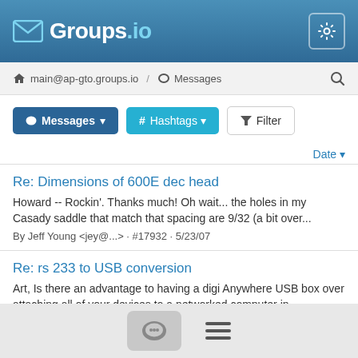Groups.io
main@ap-gto.groups.io / Messages
Messages  # Hashtags  Filter
Date
Re: Dimensions of 600E dec head
Howard -- Rockin'. Thanks much! Oh wait... the holes in my Casady saddle that match that spacing are 9/32 (a bit over...
By Jeff Young <jey@...> · #17932 · 5/23/07
Re: rs 233 to USB conversion
Art, Is there an advantage to having a digi Anywhere USB box over attaching all of your devices to a networked computer in...